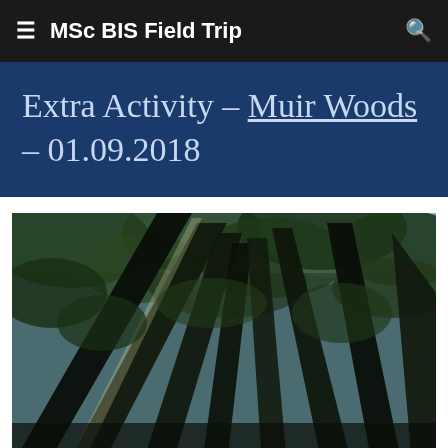MSc BIS Field Trip
Extra Activity – Muir Woods – 01.09.2018
[Figure (photo): Upward-looking photograph through tall redwood trees at Muir Woods, showing tree trunks converging toward a blue sky with light filtering through the canopy]